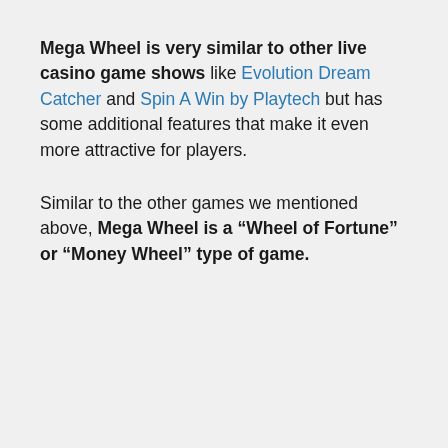Mega Wheel is very similar to other live casino game shows like Evolution Dream Catcher and Spin A Win by Playtech but has some additional features that make it even more attractive for players.
Similar to the other games we mentioned above, Mega Wheel is a “Wheel of Fortune” or “Money Wheel” type of game.